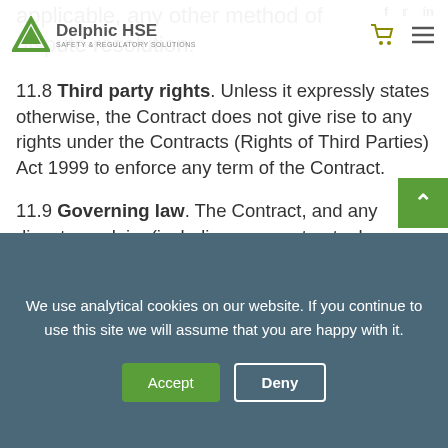applicable, any other method of dispute resolution.
[Figure (logo): Delphic HSE logo with green triangle and text 'Delphic HSE SAFETY & REGULATORY SOLUTIONS']
11.8 Third party rights. Unless it expressly states otherwise, the Contract does not give rise to any rights under the Contracts (Rights of Third Parties) Act 1999 to enforce any term of the Contract.
11.9 Governing law. The Contract, and any dispute or claim (including non-contractual disputes or claims) arising out
We use analytical cookies on our website. If you continue to use this site we will assume that you are happy with it.